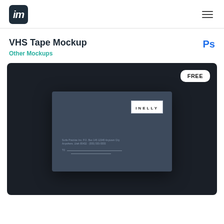[Figure (logo): Dark square logo with italic 'm' letter in white]
VHS Tape Mockup
Other Mockups
Ps
[Figure (photo): Dark background mockup image showing a dark blue-grey envelope/card with INELLY label in top right corner and small address text lines at bottom left. FREE badge in top right corner of the image area.]